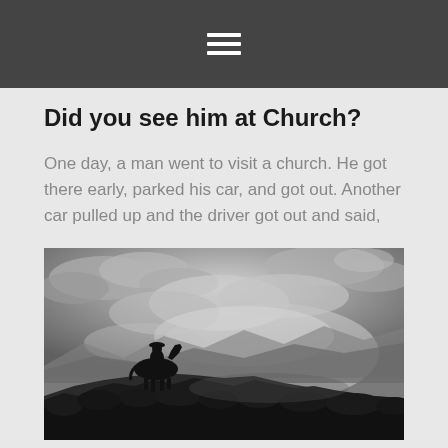≡
Did you see him at Church?
One day, a man went to visit a church. He got there early, parked his car, and got out. Another car pulled up and the driver got out and said,
[Figure (photo): Black and white photograph of a cowboy on horseback silhouetted against a dramatic cloudy sky, riding along a ridge with mountains in the background and scrubby desert vegetation in the foreground.]